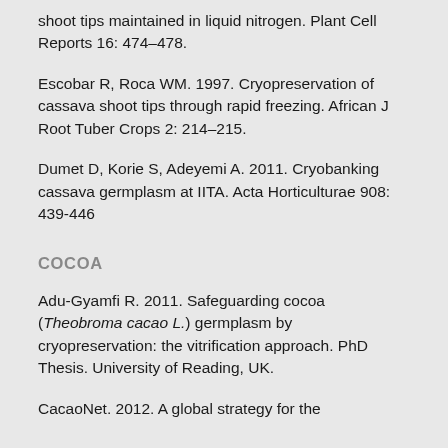shoot tips maintained in liquid nitrogen. Plant Cell Reports 16: 474–478.
Escobar R, Roca WM. 1997. Cryopreservation of cassava shoot tips through rapid freezing. African J Root Tuber Crops 2: 214–215.
Dumet D, Korie S, Adeyemi A. 2011. Cryobanking cassava germplasm at IITA. Acta Horticulturae 908: 439-446
COCOA
Adu-Gyamfi R. 2011. Safeguarding cocoa (Theobroma cacao L.) germplasm by cryopreservation: the vitrification approach. PhD Thesis. University of Reading, UK.
CacaoNet. 2012. A global strategy for the